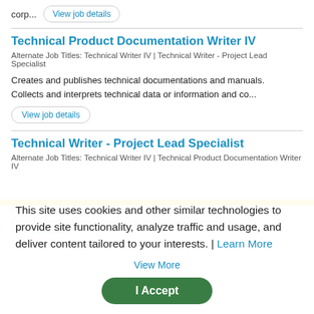corp... View job details
Technical Product Documentation Writer IV
Alternate Job Titles: Technical Writer IV | Technical Writer - Project Lead Specialist
Creates and publishes technical documentations and manuals. Collects and interprets technical data or information and co...
View job details
Technical Writer - Project Lead Specialist
Alternate Job Titles: Technical Writer IV | Technical Product Documentation Writer IV
Creates and publishes technical documentations and manuals. Collects and interprets technical data or information and co...
View job details
This site uses cookies and other similar technologies to provide site functionality, analyze traffic and usage, and deliver content tailored to your interests. | Learn More
View More
I Accept